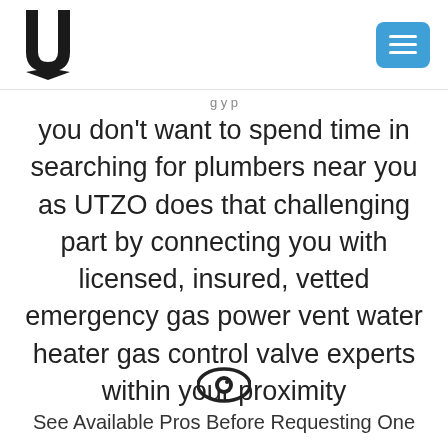UTZO logo and navigation menu
you don't want to spend time in searching for plumbers near you as UTZO does that challenging part by connecting you with licensed, insured, vetted emergency gas power vent water heater gas control valve experts within your proximity
[Figure (illustration): Eye icon]
See Available Pros Before Requesting One